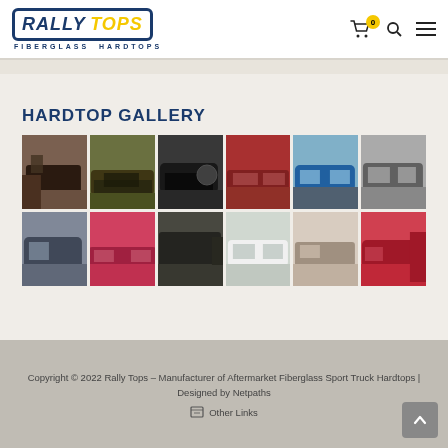[Figure (logo): Rally Tops Fiberglass Hardtops logo — dark blue bordered badge with italic bold RALLY in blue and TOPS in yellow, subtitle FIBERGLASS HARDTOPS below]
[Figure (infographic): Shopping cart icon with yellow badge showing 0, search icon, hamburger menu icon in header]
HARDTOP GALLERY
[Figure (photo): Grid of 12 vehicle photos showing various trucks and SUVs with fiberglass hardtops installed, arranged in 2 rows of 6 images]
Copyright © 2022 Rally Tops – Manufacturer of Aftermarket Fiberglass Sport Truck Hardtops | Designed by Netpaths
Other Links